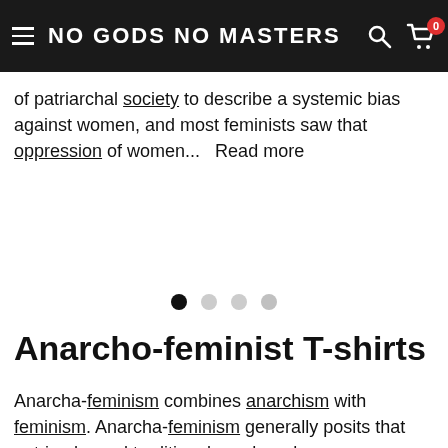NO GODS NO MASTERS
of patriarchal society to describe a systemic bias against women, and most feminists saw that oppression of women...   Read more
[Figure (other): Carousel navigation dots: four dots in a row, first dot filled black (active), remaining three dots light grey]
Anarcho-feminist T-shirts
Anarcha-feminism combines anarchism with feminism. Anarcha-feminism generally posits that patriarchy and traditional gender roles as manifestations of involuntary